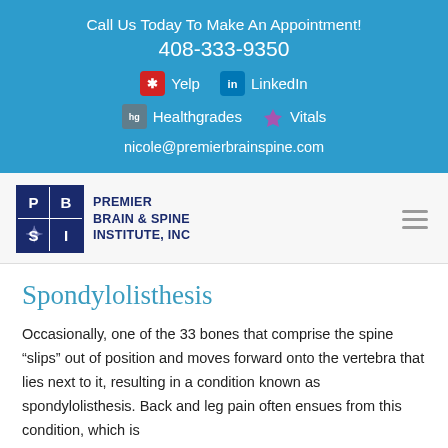Call Us Today To Make An Appointment!
408-333-9350
Yelp  LinkedIn
Healthgrades  Vitals
nicole@premierbrainspine.com
[Figure (logo): Premier Brain & Spine Institute, Inc logo with P B S I grid and text]
Spondylolisthesis
Occasionally, one of the 33 bones that comprise the spine “slips” out of position and moves forward onto the vertebra that lies next to it, resulting in a condition known as spondylolisthesis. Back and leg pain often ensues from this condition, which is